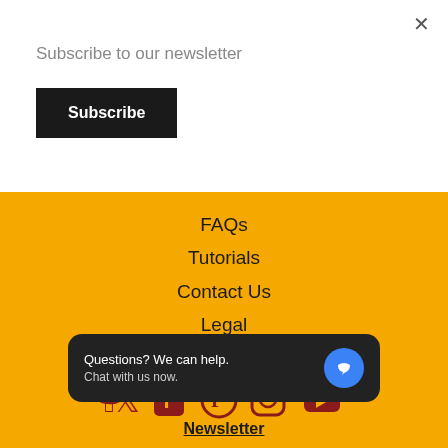×
Subscribe to our newsletter
Subscribe
FAQs
Tutorials
Contact Us
Legal
Affiliate Program
Follow Us
[Figure (illustration): Social media icons: Twitter, Facebook, Pinterest, Instagram, YouTube]
[Figure (infographic): Chat widget with text 'Questions? We can help. Chat with us now.' and blue chat bubble icon]
Newsletter